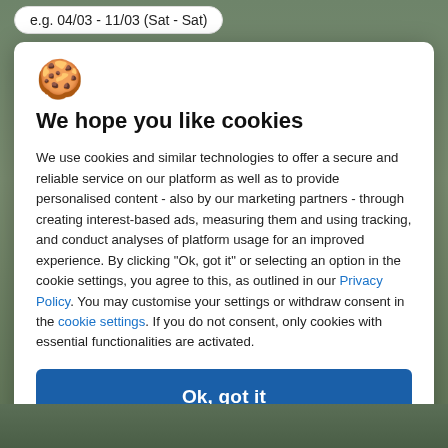[Figure (screenshot): Background showing a travel/nature photo with green tones, partially visible behind modal dialog]
e.g. 04/03 - 11/03 (Sat - Sat)
[Figure (illustration): Cookie emoji icon 🍪]
We hope you like cookies
We use cookies and similar technologies to offer a secure and reliable service on our platform as well as to provide personalised content - also by our marketing partners - through creating interest-based ads, measuring them and using tracking, and conduct analyses of platform usage for an improved experience. By clicking "Ok, got it" or selecting an option in the cookie settings, you agree to this, as outlined in our Privacy Policy. You may customise your settings or withdraw consent in the cookie settings. If you do not consent, only cookies with essential functionalities are activated.
Ok, got it
Cookie settings